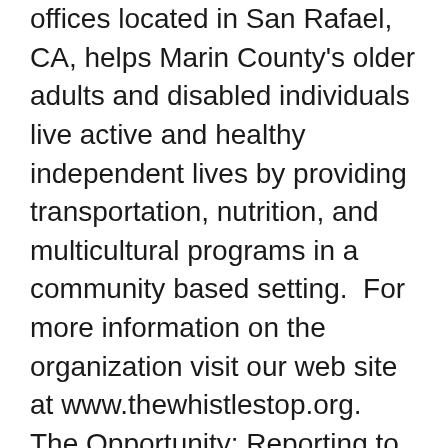offices located in San Rafael, CA, helps Marin County's older adults and disabled individuals live active and healthy independent lives by providing transportation, nutrition, and multicultural programs in a community based setting.  For more information on the organization visit our web site at www.thewhistlestop.org.
The Opportunity: Reporting to the Executive Director, and in partnership with the management team, the HR Manager serves as the head of Human Resources for this 85-person 55-year old nonprofit agency. The position manages all aspects of HR, including employee relations, compensation/benefits administration, recruiting, staffing, retention and training/development.
The HR manager ensures that Whistlestop provides a safe, productive, enjoyable work